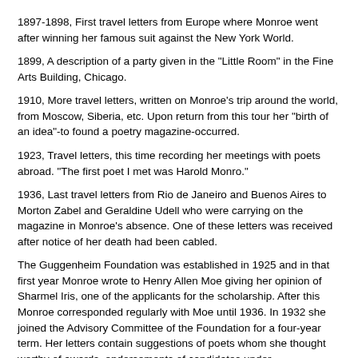1897-1898, First travel letters from Europe where Monroe went after winning her famous suit against the New York World.
1899, A description of a party given in the "Little Room" in the Fine Arts Building, Chicago.
1910, More travel letters, written on Monroe's trip around the world, from Moscow, Siberia, etc. Upon return from this tour her "birth of an idea"-to found a poetry magazine-occurred.
1923, Travel letters, this time recording her meetings with poets abroad. "The first poet I met was Harold Monro."
1936, Last travel letters from Rio de Janeiro and Buenos Aires to Morton Zabel and Geraldine Udell who were carrying on the magazine in Monroe's absence. One of these letters was received after notice of her death had been cabled.
The Guggenheim Foundation was established in 1925 and in that first year Monroe wrote to Henry Allen Moe giving her opinion of Sharmel Iris, one of the applicants for the scholarship. After this Monroe corresponded regularly with Moe until 1936. In 1932 she joined the Advisory Committee of the Foundation for a four-year term. Her letters contain suggestions of poets whom she thought worthy of awards, endorsements of candidates under consideration, and strong remonstrances for what she considered the neglect of creative artists, especially poets of the Midwest.
Over 80 carbon copies of Monroe's letters to other editors are included in her correspondence with other editor-publishers (folders 8-12) which throw light